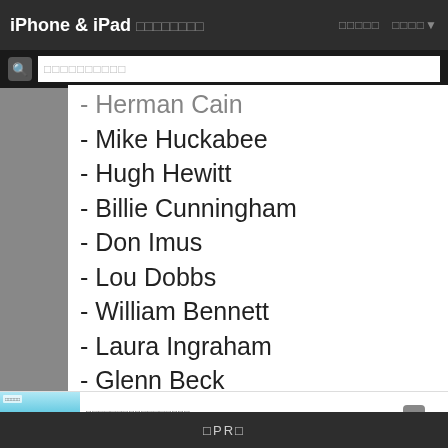iPhone & iPad □□□□□□□□ □□□□□ □□□□▾
□□□□□□□□□□
- Herman Cain
- Mike Huckabee
- Hugh Hewitt
- Billie Cunningham
- Don Imus
- Lou Dobbs
- William Bennett
- Laura Ingraham
- Glenn Beck
- Michael Medved
- Mark Levin Replay
□□□□□□□□□□□□□□□□□ □□□□□□□□□□□□□□□□□□□□□□□□□□□□□□□□□□ □□□□□□□□□□
□PR□